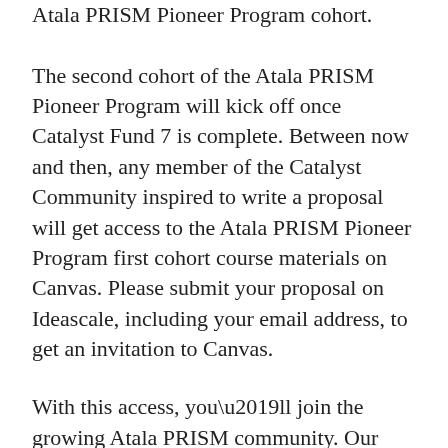Atala PRISM Pioneer Program cohort. The second cohort of the Atala PRISM Pioneer Program will kick off once Catalyst Fund 7 is complete. Between now and then, any member of the Catalyst Community inspired to write a proposal will get access to the Atala PRISM Pioneer Program first cohort course materials on Canvas. Please submit your proposal on Ideascale, including your email address, to get an invitation to Canvas.
With this access, you’ll join the growing Atala PRISM community. Our Atala PRISM product team and engineers will be available via a dedicated Discord channel. Inclusion in our Professional Services Group governance framework foundry. Access to fireside chats with the top leaders in the SSI space, where we’ll discuss trends, use cases, and much more. In addition, we will support the growth of high-value credentials and enable partners from concept, to development, to